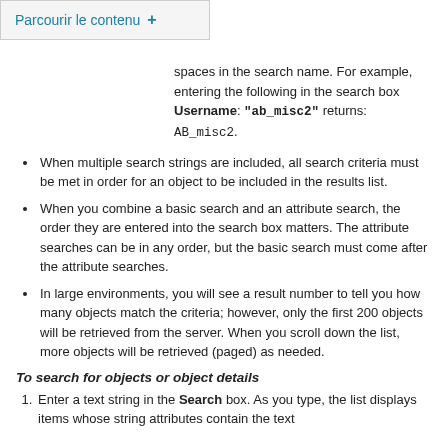Parcourir le contenu +
spaces in the search name. For example, entering the following in the search box Username: "ab_misc2" returns: AB_misc2.
When multiple search strings are included, all search criteria must be met in order for an object to be included in the results list.
When you combine a basic search and an attribute search, the order they are entered into the search box matters. The attribute searches can be in any order, but the basic search must come after the attribute searches.
In large environments, you will see a result number to tell you how many objects match the criteria; however, only the first 200 objects will be retrieved from the server. When you scroll down the list, more objects will be retrieved (paged) as needed.
To search for objects or object details
Enter a text string in the Search box. As you type, the list displays items whose string attributes contain the text